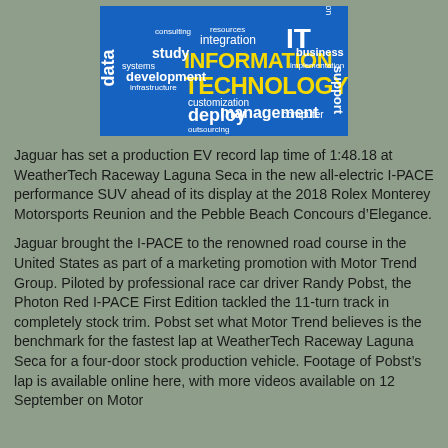[Figure (illustration): Information Technology word cloud on a blue background with words including INFORMATION TECHNOLOGY, IT, data, study, integration, installation, business, implementation, development, management, deploy, customization, computer, support, consulting, resources, systems, infrastructure, outsourcing]
Jaguar has set a production EV record lap time of 1:48.18 at WeatherTech Raceway Laguna Seca in the new all-electric I-PACE performance SUV ahead of its display at the 2018 Rolex Monterey Motorsports Reunion and the Pebble Beach Concours d'Elegance.
Jaguar brought the I-PACE to the renowned road course in the United States as part of a marketing promotion with Motor Trend Group. Piloted by professional race car driver Randy Pobst, the Photon Red I-PACE First Edition tackled the 11-turn track in completely stock trim. Pobst set what Motor Trend believes is the benchmark for the fastest lap at WeatherTech Raceway Laguna Seca for a four-door stock production vehicle. Footage of Pobst's lap is available online here, with more videos available on 12 September on Motor